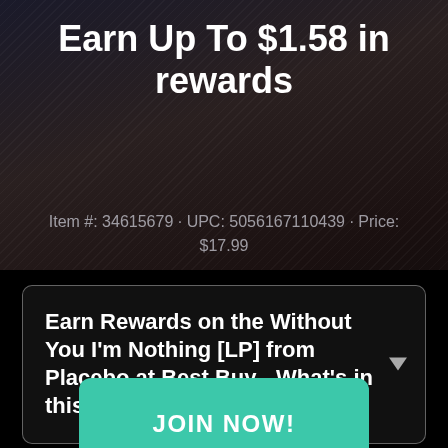Earn Up To $1.58 in rewards
Item #: 34615679 · UPC: 5056167110439 · Price: $17.99
Earn Rewards on the Without You I'm Nothing [LP] from Placebo at Best Buy - What's in this guide?
Overview  ...est Buy point...u I'm
JOIN NOW!